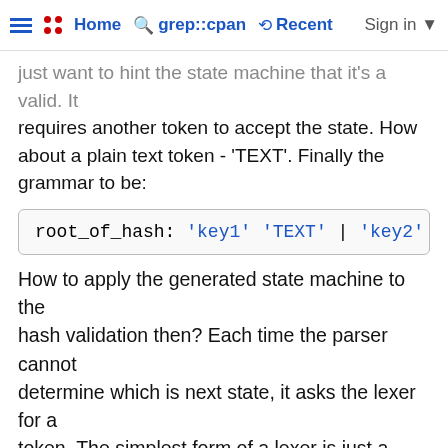Home  grep::cpan  Recent  Sign in
just want to hint the state machine that it's a valid. It requires another token to accept the state. How about a plain text token - 'TEXT'. Finally the grammar to be:
How to apply the generated state machine to the hash validation then? Each time the parser cannot determine which is next state, it asks the lexer for a token. The simplest form of a lexer is just a function to return the corresponding tokens for each state. At this point, you might be able to guess how it works:
1.  state machine initialized, it wants to move
2.  the lexer holds the hash itself, it calls ke
3.  by the time state machine got key1, it moves
4.  the lexer checks its memory and figures it r
5.  state machine finished the iteration of key1
6.  lexer returns 'key2' and keeps it in its own
7.  state machine steps into the sub-rule 'key2'